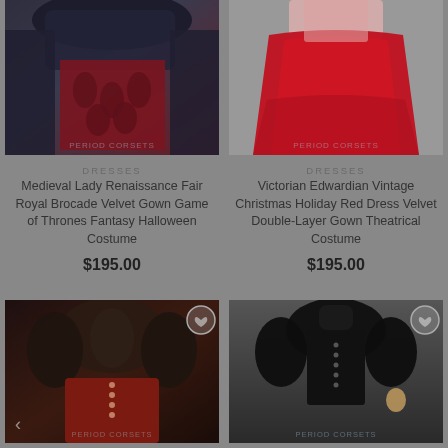[Figure (photo): Medieval Lady Renaissance Fair Royal Brocade Velvet Gown - dark navy and burgundy brocade dress costume]
[Figure (photo): Victorian Edwardian Vintage Christmas Holiday Red Dress - red velvet double-layer gown theatrical costume]
DRESSES
Medieval Lady Renaissance Fair Royal Brocade Velvet Gown Game of Thrones Fantasy Halloween Costume
$195.00
DRESSES
Victorian Edwardian Vintage Christmas Holiday Red Dress Velvet Double-Layer Gown Theatrical Costume
$195.00
[Figure (photo): Dark brown and red Victorian style dress costume with puffed sleeves]
[Figure (photo): Black Victorian style jacket/dress costume with high collar and buttons]